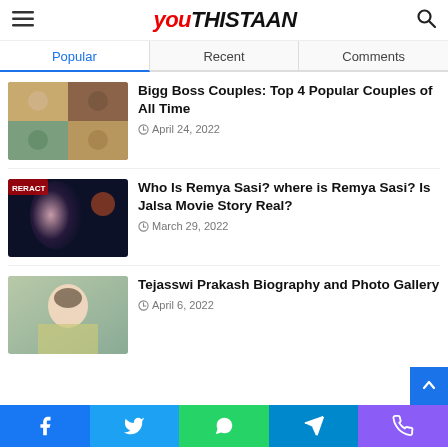Youthistaan
Popular | Recent | Comments
Bigg Boss Couples: Top 4 Popular Couples of All Time — April 24, 2022
Who Is Remya Sasi? where is Remya Sasi? Is Jalsa Movie Story Real? — March 29, 2022
Tejasswi Prakash Biography and Photo Gallery — April 6, 2022
Social share bar: Facebook, Twitter, WhatsApp, Telegram, Phone